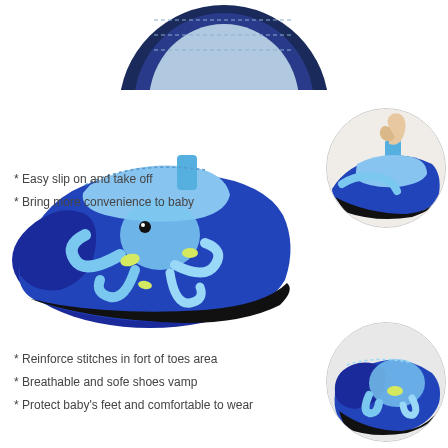[Figure (photo): Bottom sole view of a children's blue water shoe with octopus pattern, partially cropped at top of page]
[Figure (photo): Main side view of a children's blue water shoe with octopus design, pull tab, and black rubber sole]
[Figure (photo): Close-up circle inset showing hand pulling the tab of the blue children's water shoe]
[Figure (photo): Close-up circle inset showing the sole and toe area of the blue children's water shoe]
Easy slip on and take off
Bring more convenience to baby
Reinforce stitches in fort of toes area
Breathable and sofe shoes vamp
Protect baby's feet and comfortable to wear